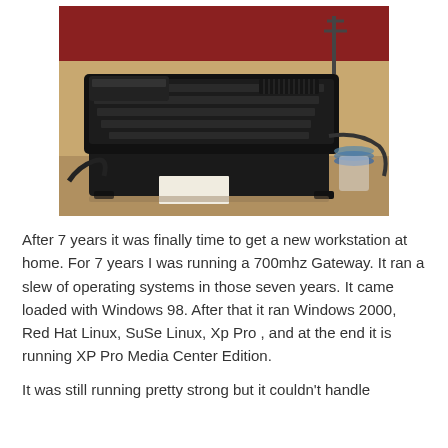[Figure (photo): A black Gateway desktop computer with keyboard on top, sitting on a wooden desk. Other items visible include cables, a remote control on the keyboard, and a stack of CDs. Red curtains or blinds in the background.]
After 7 years it was finally time to get a new workstation at home. For 7 years I was running a 700mhz Gateway. It ran a slew of operating systems in those seven years. It came loaded with Windows 98. After that it ran Windows 2000, Red Hat Linux, SuSe Linux, Xp Pro , and at the end it is running XP Pro Media Center Edition.
It was still running pretty strong but it couldn't handle